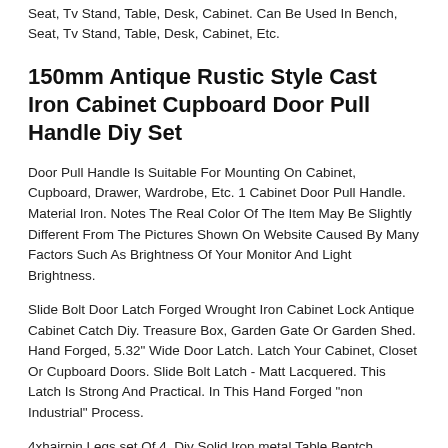Seat, Tv Stand, Table, Desk, Cabinet. Can Be Used In Bench, Seat, Tv Stand, Table, Desk, Cabinet, Etc.
150mm Antique Rustic Style Cast Iron Cabinet Cupboard Door Pull Handle Diy Set
Door Pull Handle Is Suitable For Mounting On Cabinet, Cupboard, Drawer, Wardrobe, Etc. 1 Cabinet Door Pull Handle. Material Iron. Notes The Real Color Of The Item May Be Slightly Different From The Pictures Shown On Website Caused By Many Factors Such As Brightness Of Your Monitor And Light Brightness.
Slide Bolt Door Latch Forged Wrought Iron Cabinet Lock Antique Cabinet Catch Diy. Treasure Box, Garden Gate Or Garden Shed. Hand Forged, 5.32" Wide Door Latch. Latch Your Cabinet, Closet Or Cupboard Doors. Slide Bolt Latch - Matt Lacquered. This Latch Is Strong And Practical. In This Hand Forged "non Industrial" Process.
4xhairpin Legs,set Of 4, Diy Solid Iron,metal Table Bentch Legs,screws&protector. Other Usesbench, Seat, Tv Stand, Table, Desk, Cabinet. Compatible Modelbench, Seat, Tv Stand, Table, Desk, Cabinet. Can Be Used In Bench, Seat, Tv Stand, Table, Desk, Cabinet, Etc. Typetable L...